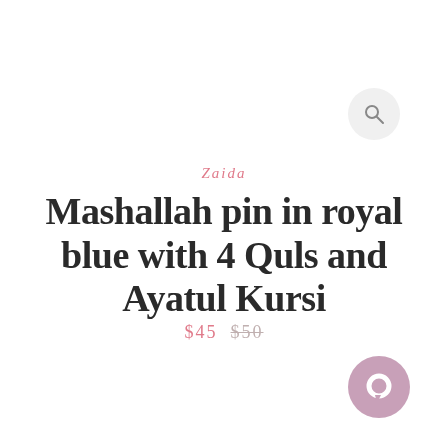[Figure (other): Search icon button — circular light gray button with magnifying glass icon, positioned top right]
Zaida
Mashallah pin in royal blue with 4 Quls and Ayatul Kursi
$45  $50
[Figure (other): Chat bubble icon — circular mauve/pink button with hollow circle, positioned bottom right]